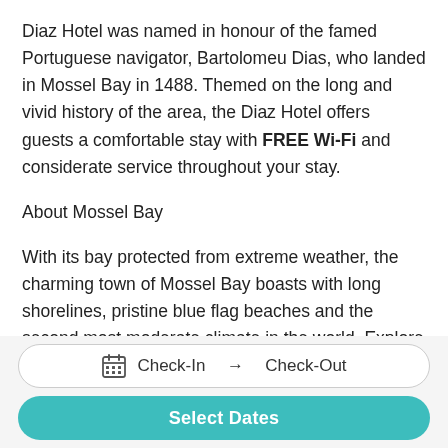Diaz Hotel was named in honour of the famed Portuguese navigator, Bartolomeu Dias, who landed in Mossel Bay in 1488. Themed on the long and vivid history of the area, the Diaz Hotel offers guests a comfortable stay with FREE Wi-Fi and considerate service throughout your stay.
About Mossel Bay
With its bay protected from extreme weather, the charming town of Mossel Bay boasts with long shorelines, pristine blue flag beaches and the second most moderate climate in the world. Explore the beautiful resort and discover the delights Mossel Bay
Check-In → Check-Out
Select Dates